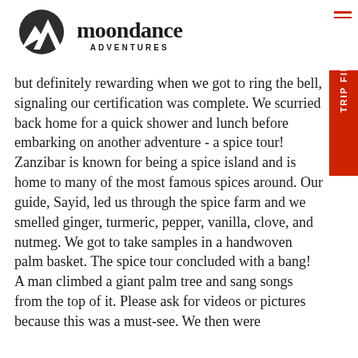[Figure (logo): Moondance Adventures logo with mountain icon and text 'moondance ADVENTURES']
but definitely rewarding when we got to ring the bell, signaling our certification was complete. We scurried back home for a quick shower and lunch before embarking on another adventure - a spice tour! Zanzibar is known for being a spice island and is home to many of the most famous spices around. Our guide, Sayid, led us through the spice farm and we smelled ginger, turmeric, pepper, vanilla, clove, and nutmeg. We got to take samples in a handwoven palm basket. The spice tour concluded with a bang!  A man climbed a giant palm tree and sang songs from the top of it. Please ask for videos or pictures because this was a must-see. We then were